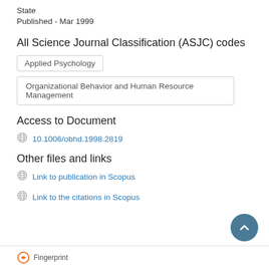State
Published - Mar 1999
All Science Journal Classification (ASJC) codes
Applied Psychology
Organizational Behavior and Human Resource Management
Access to Document
10.1006/obhd.1998.2819
Other files and links
Link to publication in Scopus
Link to the citations in Scopus